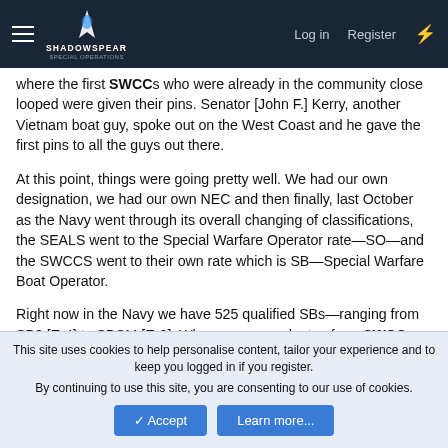ShadowSpear Special Operations — Log in | Register
where the first SWCCs who were already in the community close looped were given their pins. Senator [John F.] Kerry, another Vietnam boat guy, spoke out on the West Coast and he gave the first pins to all the guys out there.
At this point, things were going pretty well. We had our own designation, we had our own NEC and then finally, last October as the Navy went through its overall changing of classifications, the SEALS went to the Special Warfare Operator rate—SO—and the SWCCS went to their own rate which is SB—Special Warfare Boat Operator.
Right now in the Navy we have 525 qualified SBs—ranging from SB3 [E-4] to SBCM [E-9]. When a man graduates from SWCC training they become a Petty Officer Third Class, if not already a
This site uses cookies to help personalise content, tailor your experience and to keep you logged in if you register.
By continuing to use this site, you are consenting to our use of cookies.